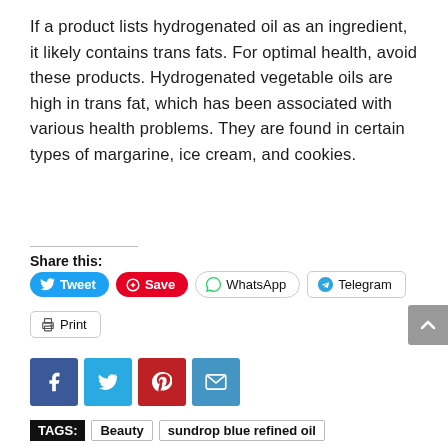If a product lists hydrogenated oil as an ingredient, it likely contains trans fats. For optimal health, avoid these products. Hydrogenated vegetable oils are high in trans fat, which has been associated with various health problems. They are found in certain types of margarine, ice cream, and cookies.
Share this: Tweet | Save | WhatsApp | Telegram | Print
[Figure (infographic): Social media share buttons: Tweet (Twitter/blue), Save (Pinterest/red), WhatsApp (outlined), Telegram (outlined), Print (outlined)]
[Figure (infographic): Social media icon buttons: Facebook (dark blue), Twitter (light blue), Pinterest (red), Email (blue)]
TAGS: Beauty | sundrop blue refined oil